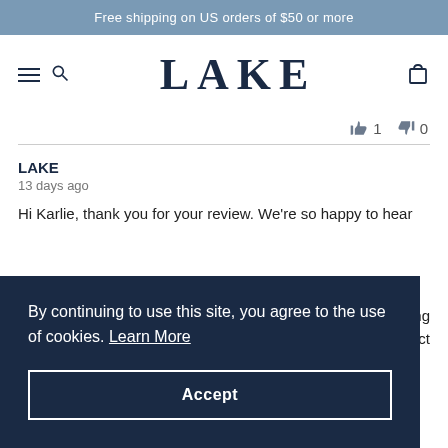Free shipping on US orders of $50 or more
[Figure (logo): LAKE brand logo with hamburger menu, search icon, and cart icon in navigation bar]
👍 1  👎 0
LAKE
13 days ago
Hi Karlie, thank you for your review. We're so happy to hear
By continuing to use this site, you agree to the use of cookies. Learn More
Accept